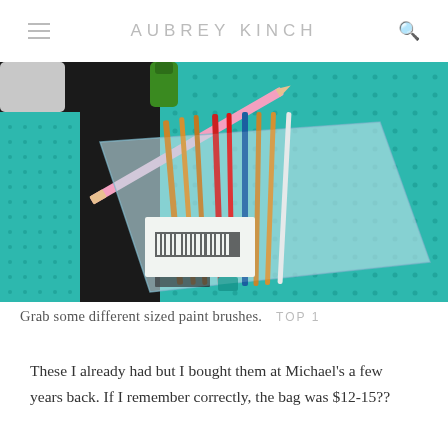AUBREY KINCH
[Figure (photo): A clear plastic bag containing multiple paint brushes of various sizes with colorful handles (red, blue, orange), resting on a teal/turquoise dotted mat. A pink pencil and a small bottle of green paint are also visible.]
Grab some different sized paint brushes.
These I already had but I bought them at Michael's a few years back. If I remember correctly, the bag was $12-15??